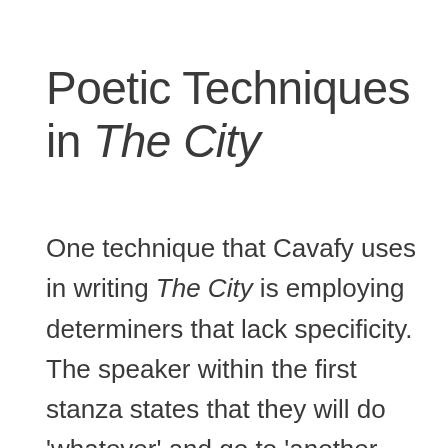Poetic Techniques in The City
One technique that Cavafy uses in writing The City is employing determiners that lack specificity. The speaker within the first stanza states that they will do 'whatever' and go to 'another city'. Both of these examples lack a specific location or action, the uncertainty of the speaker revealing how they have not truly thought out their plan of